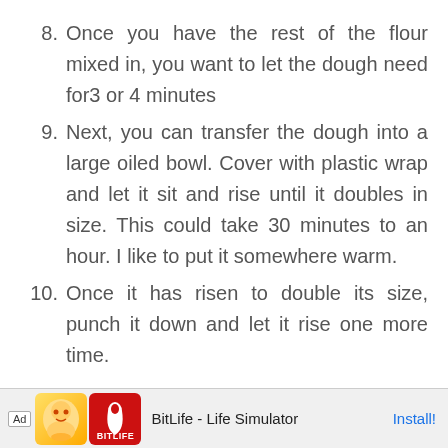8. Once you have the rest of the flour mixed in, you want to let the dough need for3 or 4 minutes
9. Next, you can transfer the dough into a large oiled bowl. Cover with plastic wrap and let it sit and rise until it doubles in size. This could take 30 minutes to an hour. I like to put it somewhere warm.
10. Once it has risen to double its size, punch it down and let it rise one more time.
[Figure (screenshot): Advertisement banner for BitLife - Life Simulator app with Ad label, cartoon character icon, red BitLife logo icon, app name text, and Install button]